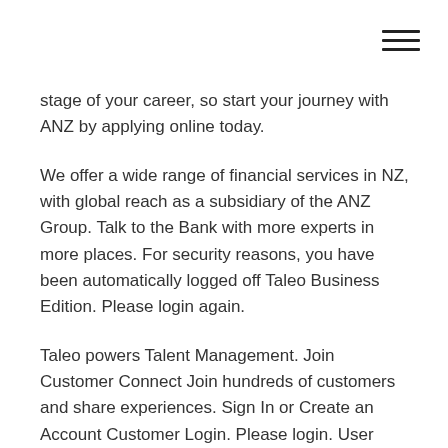[Figure (other): Hamburger menu icon (three horizontal lines) in top-right corner]
stage of your career, so start your journey with ANZ by applying online today.
We offer a wide range of financial services in NZ, with global reach as a subsidiary of the ANZ Group. Talk to the Bank with more experts in more places. For security reasons, you have been automatically logged off Taleo Business Edition. Please login again.
Taleo powers Talent Management. Join Customer Connect Join hundreds of customers and share experiences. Sign In or Create an Account Customer Login. Please login. User name: Password: